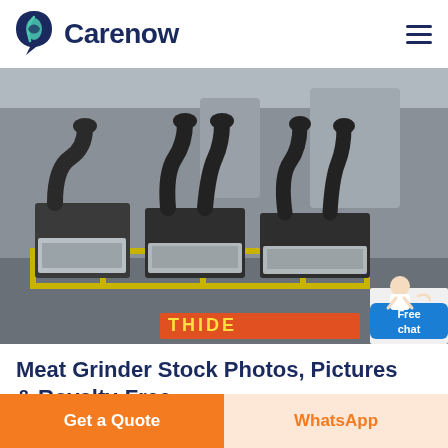Carenow
[Figure (photo): Industrial meat grinder machines outdoors, large black metal units with curved exhaust pipes on yellow-railed platforms, with a partially visible banner reading 'THIDE' in the background. A chat assistant figure with a 'Free chat' button overlay in the bottom right corner.]
Meat Grinder Stock Photos, Pictures & Royalty-Free ...
Get a Quote
WhatsApp